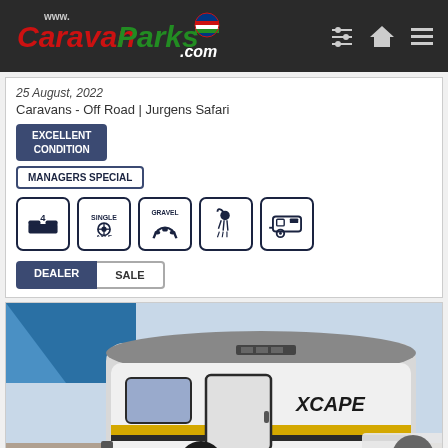www.CaravanParks.com
25 August, 2022
Caravans - Off Road | Jurgens Safari
EXCELLENT CONDITION
MANAGERS SPECIAL
[Figure (infographic): Icons showing: 4 berths, single axle, gravel roads, shower, caravan]
DEALER  SALE
[Figure (photo): Photo of a Xcape off-road caravan, grey and white teardrop style with yellow stripe, parked outdoors]